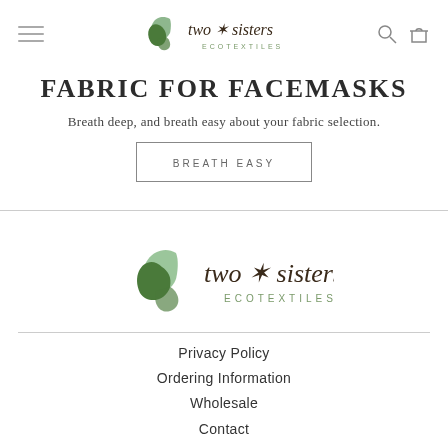Two Sisters Ecotextiles - navigation bar with hamburger menu, logo, search and cart icons
FABRIC FOR FACEMASKS
Breath deep, and breath easy about your fabric selection.
BREATH EASY
[Figure (logo): Two Sisters Ecotextiles logo with green leaf illustration and brand name in italic serif font]
Privacy Policy
Ordering Information
Wholesale
Contact